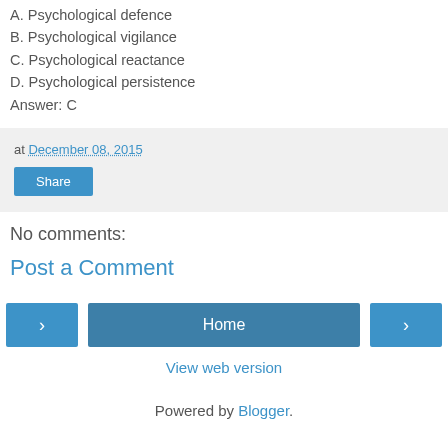A. Psychological defence
B. Psychological vigilance
C. Psychological reactance
D. Psychological persistence
Answer: C
at December 08, 2015
Share
No comments:
Post a Comment
Home
View web version
Powered by Blogger.